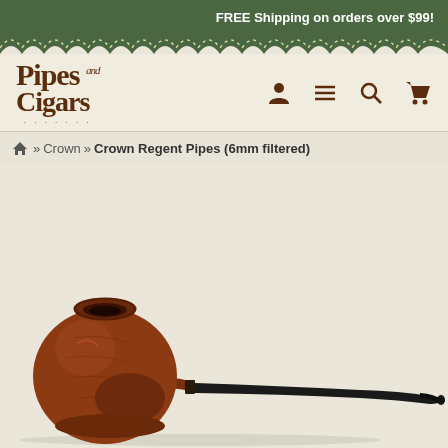FREE Shipping on orders over $99!
[Figure (logo): Pipes and Cigars logo with decorative serif text]
» Crown » Crown Regent Pipes (6mm filtered)
[Figure (photo): Brown briar tobacco pipe with black stem, side profile view. The bowl is rounded and compact, with a smooth finish. The long black stem tapers to a small mouthpiece. The word CROWN is engraved on the shank.]